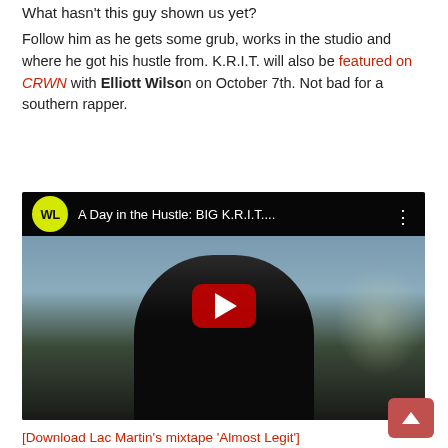What hasn't this guy shown us yet?
Follow him as he gets some grub, works in the studio and where he got his hustle from. K.R.I.T. will also be featured on CRWN with Elliott Wilson on October 7th. Not bad for a southern rapper.
[Figure (screenshot): YouTube video thumbnail showing a video titled 'A Day in the Hustle: BIG K.R.I.T.' with a WL (WorldstarHipHop or similar) yellow circle logo, a dark-skinned man's face in close-up against an outdoor background, and a red YouTube play button in the center.]
[Download Lac Martin's mixtape 'Almost Legit']